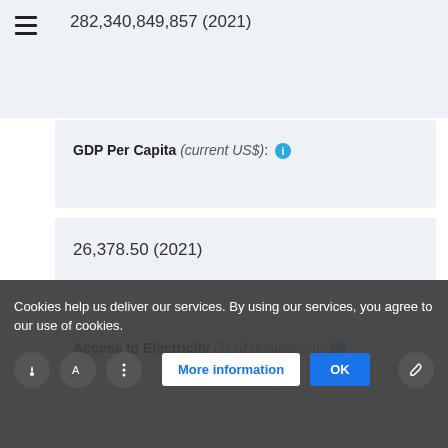282,340,849,857 (2021)
GDP Per Capita (current US$):
26,378.50 (2021)
Access to Electricity (% of population):
Cookies help us deliver our services. By using our services, you agree to our use of cookies.